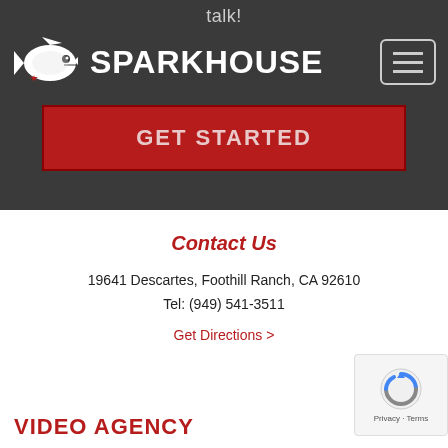talk!
[Figure (logo): Sparkhouse logo with fish/piranha graphic and SPARKHOUSE text in white]
GET STARTED
Contact Us
19641 Descartes, Foothill Ranch, CA 92610
Tel: (949) 541-3511
Get Directions >
VIDEO AGENCY
[Figure (other): reCAPTCHA badge with blue/grey circular icon and Privacy - Terms text]